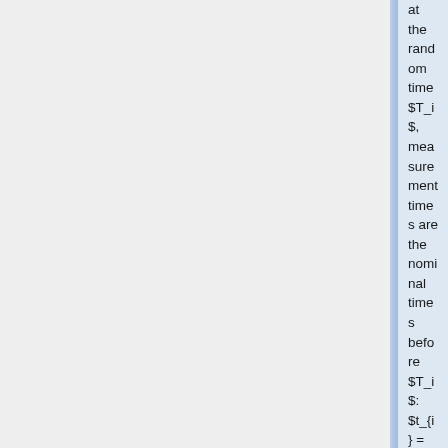at the random time $T_i$, measurement times are the nominal times before $T_i$: $t_{i} = (\nominal{t}_{ij} \\ {\rm s.t. }\\ \nominal{t}_{ij}\leq T_i)$. In such situations, measurement times are therefore random and can be thought to come from a distribution $\qt(\, \cdot \, ; \nominal{\bt})$.